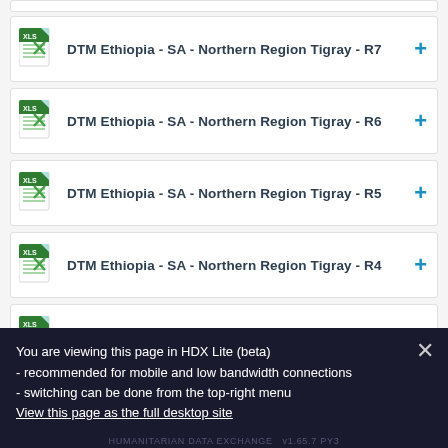DTM Ethiopia - SA - Northern Region Tigray - R7
DTM Ethiopia - SA - Northern Region Tigray - R6
DTM Ethiopia - SA - Northern Region Tigray - R5
DTM Ethiopia - SA - Northern Region Tigray - R4
DTM Ethiopia - SA - Northern Region Tigray - R3
DTM Ethiopia - SA - Northern Region Tigray - R2
You are viewing this page in HDX Lite (beta) - recommended for mobile and low bandwidth connections - switching can be done from the top-right menu
View this page as the full desktop site
HUMANITARIAN DATA EXCHANGE  v1.65.7 PY3